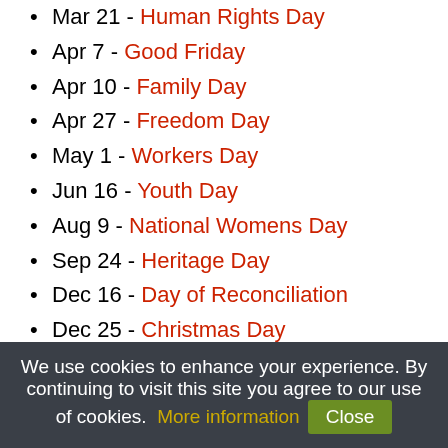Mar 21 - Human Rights Day
Apr 7 - Good Friday
Apr 10 - Family Day
Apr 27 - Freedom Day
May 1 - Workers Day
Jun 16 - Youth Day
Aug 9 - National Womens Day
Sep 24 - Heritage Day
Dec 16 - Day of Reconciliation
Dec 25 - Christmas Day
Dec 26 - Day of Goodwill
Holidays in red denotes National Holiday.
Full Moon Dates - Universal Time
Friday, January 6
Sunday, February 5
Tuesday, March 7
Wednesday, April 5
We use cookies to enhance your experience. By continuing to visit this site you agree to our use of cookies. More information Close